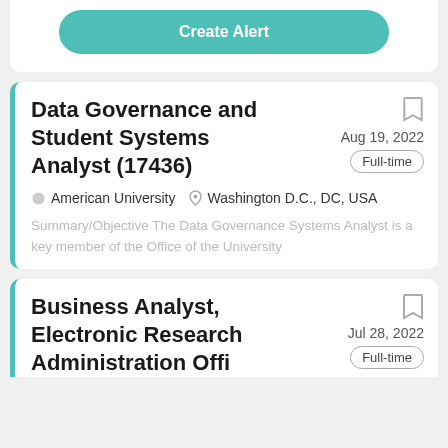[Figure (other): Create Alert button in teal/green rounded rectangle]
Data Governance and Student Systems Analyst (17436)
Aug 19, 2022  Full-time
American University  Washington D.C., DC, USA
Summary/Objective The Data Governance Systems Analyst is a key member of the Office of the University
Business Analyst, Electronic Research Administration Off…
Jul 28, 2022  Full-time